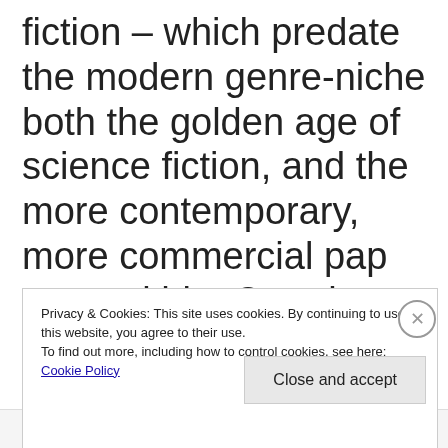fiction – which predate the modern genre-niche both the golden age of science fiction, and the more contemporary, more commercial pap rests within. Or at least a perversion of these weird elements could be used to subvert science fiction. I think this is the key to
Privacy & Cookies: This site uses cookies. By continuing to use this website, you agree to their use.
To find out more, including how to control cookies, see here: Cookie Policy
Close and accept